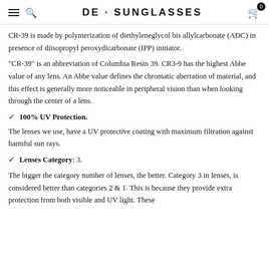DE · SUNGLASSES
CR-39 is made by polymerization of diethyleneglycol bis allylcarbonate (ADC) in presence of diisopropyl peroxydicarbonate (IPP) initiator.
"CR-39" is an abbreviation of Columbia Resin 39. CR3-9 has the highest Abbe value of any lens. An Abbe value defines the chromatic aberration of material, and this effect is generally more noticeable in peripheral vision than when looking through the center of a lens.
✓ 100% UV Protection.
The lenses we use, have a UV protective coating with maximum filtration against harmful sun rays.
✓ Lenses Category: 3.
The bigger the category number of lenses, the better. Category 3 in lenses, is considered better than categories 2 & 1. This is because they provide extra protection from both visible and UV light. These